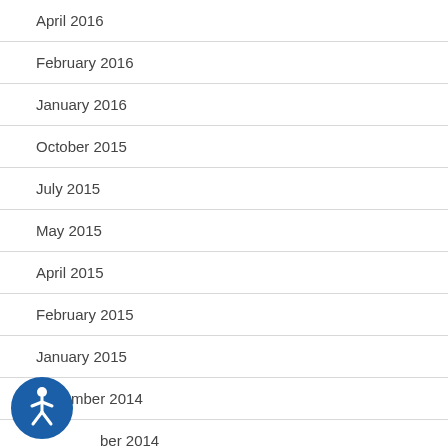April 2016
February 2016
January 2016
October 2015
July 2015
May 2015
April 2015
February 2015
January 2015
December 2014
November 2014
[Figure (logo): Accessibility icon — blue circle with white human figure (wheelchair/accessibility symbol)]